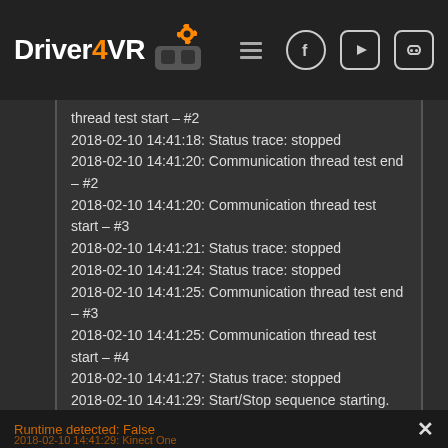Driver4VR
thread test start – #2
2018-02-10 14:41:18: Status trace: stopped
2018-02-10 14:41:20: Communication thread test end – #2
2018-02-10 14:41:20: Communication thread test start – #3
2018-02-10 14:41:21: Status trace: stopped
2018-02-10 14:41:24: Status trace: stopped
2018-02-10 14:41:25: Communication thread test end – #3
2018-02-10 14:41:25: Communication thread test start – #4
2018-02-10 14:41:27: Status trace: stopped
2018-02-10 14:41:29: Start/Stop sequence starting.
2018-02-10 14:41:29: Kinect 360
Runtime detected: False
2018-02-10 14:41:29: Kinect One